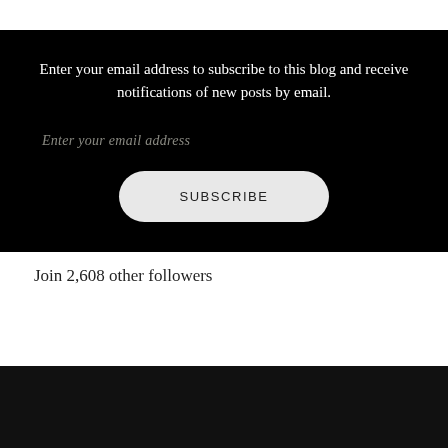Enter your email address to subscribe to this blog and receive notifications of new posts by email.
Enter your email address
SUBSCRIBE
Join 2,608 other followers
BLOG AT WORDPRESS.COM